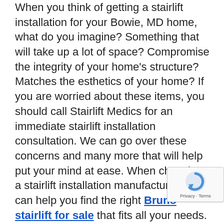When you think of getting a stairlift installation for your Bowie, MD home, what do you imagine? Something that will take up a lot of space? Compromise the integrity of your home's structure? Matches the esthetics of your home? If you are worried about these items, you should call Stairlift Medics for an immediate stairlift installation consultation. We can go over these concerns and many more that will help put your mind at ease. When choosing a stairlift installation manufacturer, we can help you find the right Bruno stairlift for sale that fits all your needs. We'll explain how the stairlift installation is done through your stairwell steps and not the wall. We'll also go over the different colors, features, and more for a Bruno stairlift for sale. We know you will be happy with your Bruno chairlift installation. From basic stairlift installations to heavy-duty and curved stairlifts, there is a Bruno stairlift that is right for you and will allow you to remain in your home longer and safer.
[Figure (other): reCAPTCHA badge with Privacy and Terms links]